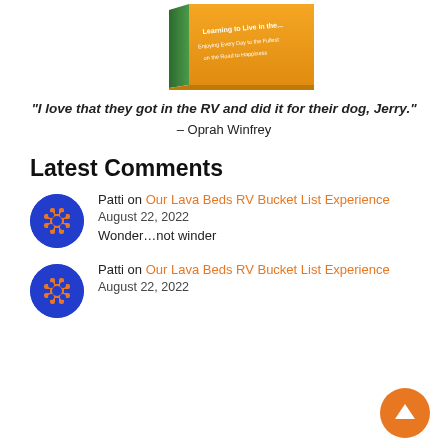[Figure (photo): Partial view of a book cover with orange background, titled 'Learning to Live in the... Enjoying Every Day to the Fullest on the Road to Happiness']
"I love that they got in the RV and did it for their dog, Jerry."
– Oprah Winfrey
Latest Comments
Patti on Our Lava Beds RV Bucket List Experience
August 22, 2022
Wonder…not winder
Patti on Our Lava Beds RV Bucket List Experience
August 22, 2022